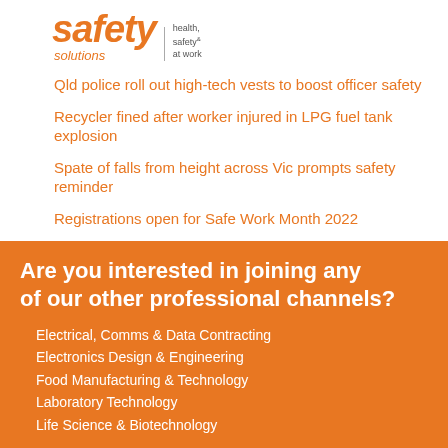[Figure (logo): Safety Solutions - health, safety & at work logo in orange]
Qld police roll out high-tech vests to boost officer safety
Recycler fined after worker injured in LPG fuel tank explosion
Spate of falls from height across Vic prompts safety reminder
Registrations open for Safe Work Month 2022
Vic truck driver crushed by tipper trailer
Are you interested in joining any of our other professional channels?
Electrical, Comms & Data Contracting
Electronics Design & Engineering
Food Manufacturing & Technology
Laboratory Technology
Life Science & Biotechnology